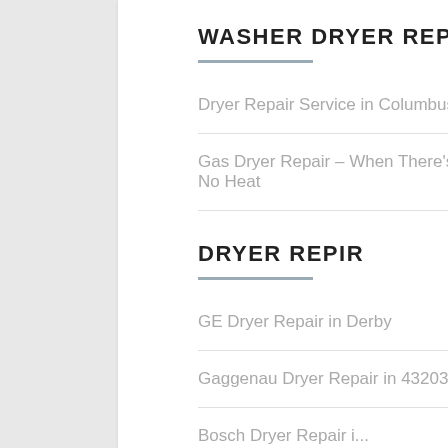WASHER DRYER REPAIRS
Dryer Repair Service in Columbus
Gas Dryer Repair – When There's No Heat
DRYER REPIR
GE Dryer Repair in Derby
Gaggenau Dryer Repair in 43203
Bosch Dryer Repair (partial, cut off)